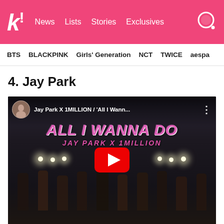K! News  Lists  Stories  Exclusives
BTS  BLACKPINK  Girls' Generation  NCT  TWICE  aespa
4. Jay Park
[Figure (screenshot): YouTube video thumbnail for Jay Park X 1MILLION 'All I Wanna Do' showing group of dancers in a warehouse/studio with 'ALL I WANNA DO' and 'JAY PARK X 1MILLION' text overlay, with YouTube play button in center]